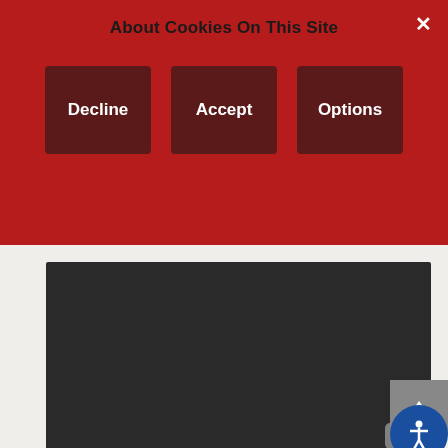About Cookies On This Site
[Figure (screenshot): Cookie consent banner with three dark-red buttons: Decline, Accept, Options, and a close (×) button in the top-right corner.]
[Figure (screenshot): Dark video embed placeholder with a YouTube play icon in the bottom-right corner.]
[Figure (screenshot): Dark video embed showing 'This video is private' message with a warning icon. Partially visible scrollbar and back-to-top / accessibility buttons on the right.]